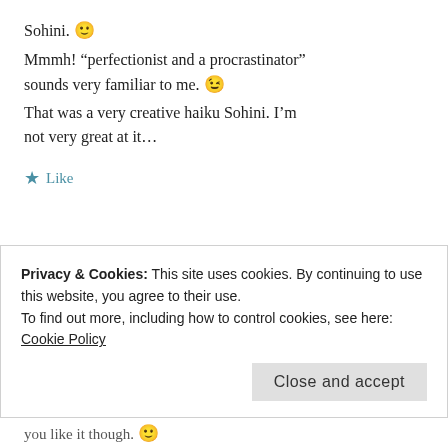Sohini. 🙂
Mmmh! "perfectionist and a procrastinator" sounds very familiar to me. 😉
That was a very creative haiku Sohini. I'm not very great at it...
★ Like
SOHINI   February 17, 2016 at 1:45 am   REPLY
Privacy & Cookies: This site uses cookies. By continuing to use this website, you agree to their use.
To find out more, including how to control cookies, see here: Cookie Policy
Close and accept
you like it though. 🙂